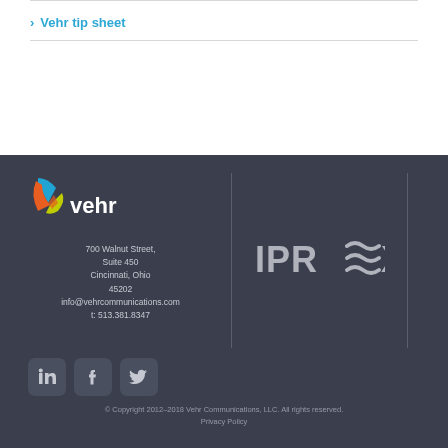> Vehr tip sheet
[Figure (logo): Vehr Communications logo with colorful V icon and 'vehr' text in white]
700 Walnut Street, Suite 450 Cincinnati, Ohio 45202 info@vehrcommunications.com t: 513.381.8347
[Figure (logo): IPREX logo in light gray text on dark background]
[Figure (logo): LinkedIn, Facebook, and Twitter social media icons]
© Copyright 2012–2018 Vehr Communications, LLC. All rights reserved. Privacy Policy